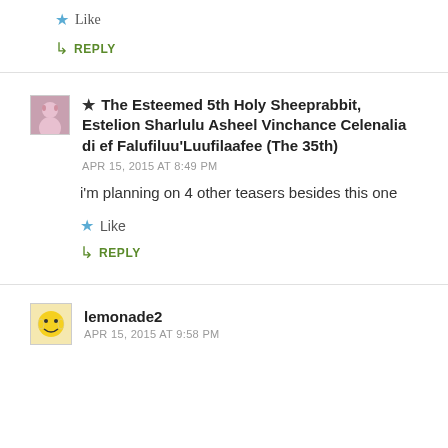★ Like
↳ REPLY
★ The Esteemed 5th Holy Sheeprabbit, Estelion Sharlulu Asheel Vinchance Celenalia di ef Falufiluu'Luufilaafee (The 35th)
APR 15, 2015 AT 8:49 PM
i'm planning on 4 other teasers besides this one
★ Like
↳ REPLY
lemonade2
APR 15, 2015 AT 9:58 PM